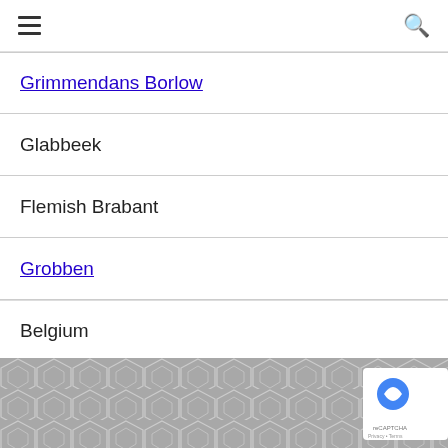navigation header with hamburger menu and search icon
Grimmendans Borlow
Glabbeek
Flemish Brabant
Grobben
Belgium
Hof Naddan